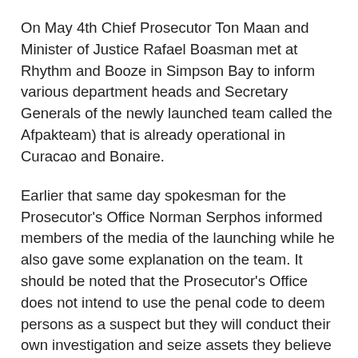On May 4th Chief Prosecutor Ton Maan and Minister of Justice Rafael Boasman met at Rhythm and Booze in Simpson Bay to inform various department heads and Secretary Generals of the newly launched team called the Afpakteam) that is already operational in Curacao and Bonaire.
Earlier that same day spokesman for the Prosecutor's Office Norman Serphos informed members of the media of the launching while he also gave some explanation on the team. It should be noted that the Prosecutor's Office does not intend to use the penal code to deem persons as a suspect but they will conduct their own investigation and seize assets they believe certain people obtained illegally. The laws the Prosecutor Office intends to use is the tax laws of the country.
Even though the previous Council of Ministers gave approval and the current Minister of Justice launched the team the